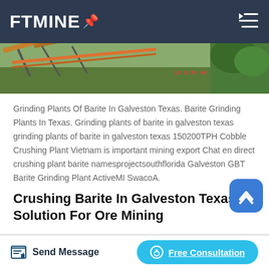FTMINE
[Figure (photo): Aerial/side view of industrial conveyor belt at a mining or crushing plant site, with timestamp overlay showing '16 6:35 AM']
Grinding Plants Of Barite In Galveston Texas. Barite Grinding Plants In Texas. Grinding plants of barite in galveston texas grinding plants of barite in galveston texas 150200TPH Cobble Crushing Plant Vietnam is important mining export Chat en direct crushing plant barite namesprojectsouthflorida Galveston GBT Barite Grinding Plant ActiveMI SwacoA.
Crushing Barite In Galveston Texas Solution For Ore Mining
Send Message    Free Consultation